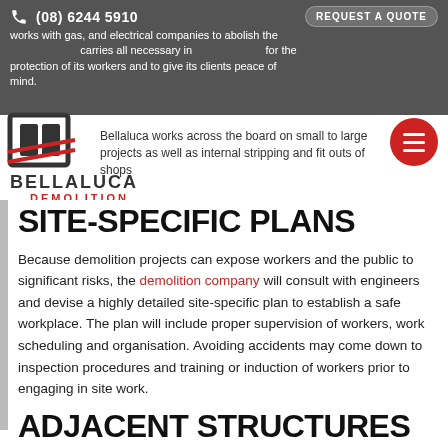works with gas, and electrical companies to abolish the (08) 6244 5910 carries all necessary insurance protection of its workers and to give its clients peace of mind.
[Figure (logo): Bellaluca Demolition company logo with stylized BL letters and red accent]
Bellaluca works across the board on small to large projects as well as internal stripping and fit outs of shops
SITE-SPECIFIC PLANS
Because demolition projects can expose workers and the public to significant risks, the demolition company will consult with engineers and devise a highly detailed site-specific plan to establish a safe workplace. The plan will include proper supervision of workers, work scheduling and organisation. Avoiding accidents may come down to inspection procedures and training or induction of workers prior to engaging in site work.
ADJACENT STRUCTURES